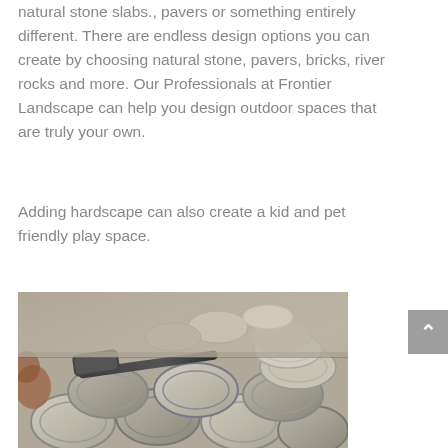natural stone slabs., pavers or something entirely different. There are endless design options you can create by choosing natural stone, pavers, bricks, river rocks and more. Our Professionals at Frontier Landscape can help you design outdoor spaces that are truly your own.
Adding hardscape can also create a kid and pet friendly play space.
[Figure (photo): Photograph of concrete paving stones/pavers being laid, with a rubber mallet resting on top of the interlocking stone pieces.]